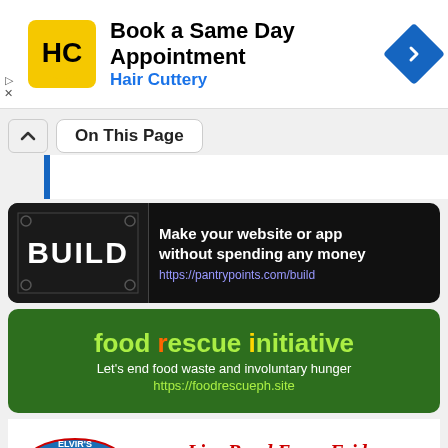[Figure (infographic): Hair Cuttery ad banner: yellow HC logo, 'Book a Same Day Appointment' headline, 'Hair Cuttery' subtext in blue, blue diamond navigation arrow on right]
On This Page
[Figure (infographic): BUILD banner: dark background with BUILD text on left, 'Make your website or app without spending any money' and 'https://pantrypoints.com/build' on right]
[Figure (infographic): food rescue initiative banner: green background, 'food rescue initiative' title, 'Let's end food waste and involuntary hunger', 'https://foodrescueph.site']
[Figure (infographic): Elvir's bar-b-que house banner: oval logo on left, 'Live Band Every Friday and Saturday Night' in red italic on right]
SOCIAL
[Figure (infographic): Social media icons: Facebook and Twitter]